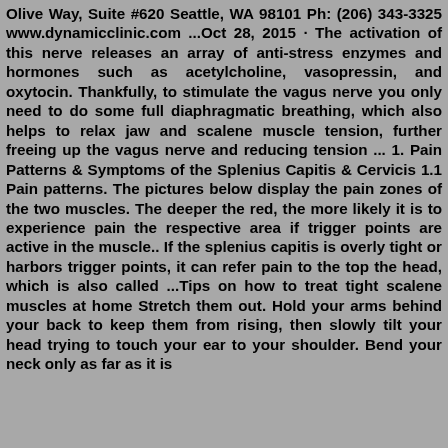Olive Way, Suite #620 Seattle, WA 98101 Ph: (206) 343-3325 www.dynamicclinic.com ...Oct 28, 2015 · The activation of this nerve releases an array of anti-stress enzymes and hormones such as acetylcholine, vasopressin, and oxytocin. Thankfully, to stimulate the vagus nerve you only need to do some full diaphragmatic breathing, which also helps to relax jaw and scalene muscle tension, further freeing up the vagus nerve and reducing tension ... 1. Pain Patterns & Symptoms of the Splenius Capitis & Cervicis 1.1 Pain patterns. The pictures below display the pain zones of the two muscles. The deeper the red, the more likely it is to experience pain the respective area if trigger points are active in the muscle.. If the splenius capitis is overly tight or harbors trigger points, it can refer pain to the top the head, which is also called ...Tips on how to treat tight scalene muscles at home Stretch them out. Hold your arms behind your back to keep them from rising, then slowly tilt your head trying to touch your ear to your shoulder. Bend your neck only as far as it is